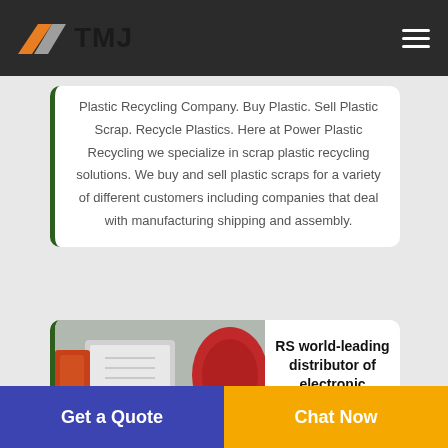TMJ
Plastic Recycling Company. Buy Plastic. Sell Plastic Scrap. Recycle Plastics. Here at Power Plastic Recycling we specialize in scrap plastic recycling solutions. We buy and sell plastic scraps for a variety of different customers including companies that deal with manufacturing shipping and assembly.
[Figure (photo): Industrial machinery photo showing red and white plastic recycling equipment]
RS world-leading distributor of electronic industrial
Get a Quote
Chat Now